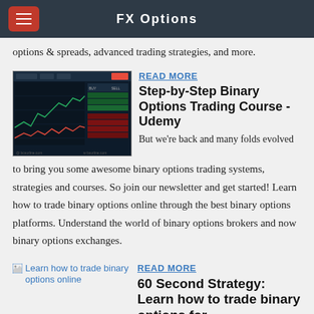FX Options
options & spreads, advanced trading strategies, and more.
READ MORE
Step-by-Step Binary Options Trading Course - Udemy
But we're back and many folds evolved to bring you some awesome binary options trading systems, strategies and courses. So join our newsletter and get started! Learn how to trade binary options online through the best binary options platforms. Understand the world of binary options brokers and now binary options exchanges.
READ MORE
60 Second Strategy: Learn how to trade binary options for